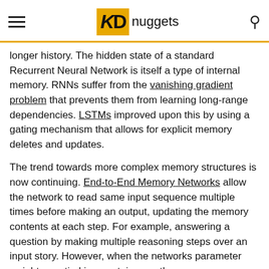KDnuggets
longer history. The hidden state of a standard Recurrent Neural Network is itself a type of internal memory. RNNs suffer from the vanishing gradient problem that prevents them from learning long-range dependencies. LSTMs improved upon this by using a gating mechanism that allows for explicit memory deletes and updates.
The trend towards more complex memory structures is now continuing. End-to-End Memory Networks allow the network to read same input sequence multiple times before making an output, updating the memory contents at each step. For example, answering a question by making multiple reasoning steps over an input story. However, when the networks parameter weights are tied in a certain way, the memory mechanism in End-to-End Memory